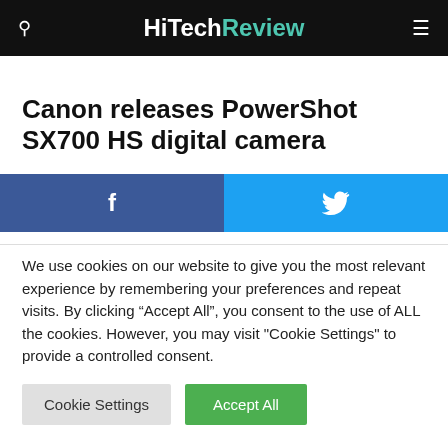HiTechReview
Canon releases PowerShot SX700 HS digital camera
[Figure (other): Social share buttons: Facebook (blue) and Twitter (light blue)]
We use cookies on our website to give you the most relevant experience by remembering your preferences and repeat visits. By clicking “Accept All”, you consent to the use of ALL the cookies. However, you may visit "Cookie Settings" to provide a controlled consent.
Cookie Settings | Accept All